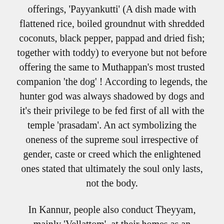offerings, 'Payyankutti' (A dish made with flattened rice, boiled groundnut with shredded coconuts, black pepper, pappad and dried fish; together with toddy) to everyone but not before offering the same to Muthappan's most trusted companion 'the dog' ! According to legends, the hunter god was always shadowed by dogs and it's their privilege to be fed first of all with the temple 'prasadam'. An act symbolizing the oneness of the supreme soul irrespective of gender, caste or creed which the enlightened ones stated that ultimately the soul only lasts, not the body.
In Kannur, people also conduct Theyyam, mainly 'Vellattom', at their homes as an